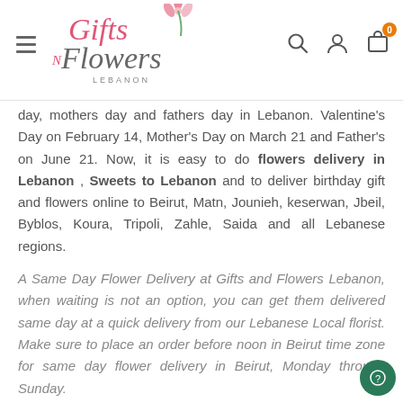Gifts N Flowers Lebanon — navigation header with logo, search, user, and cart icons
day, mothers day and fathers day in Lebanon. Valentine's Day on February 14, Mother's Day on March 21 and Father's on June 21. Now, it is easy to do flowers delivery in Lebanon , Sweets to Lebanon and to deliver birthday gift and flowers online to Beirut, Matn, Jounieh, keserwan, Jbeil, Byblos, Koura, Tripoli, Zahle, Saida and all Lebanese regions.
A Same Day Flower Delivery at Gifts and Flowers Lebanon, when waiting is not an option, you can get them delivered same day at a quick delivery from our Lebanese Local florist. Make sure to place an order before noon in Beirut time zone for same day flower delivery in Beirut, Monday through Sunday.
Feel free to browse our perfect gifts, and exotica Flower Arrangements, as our fantastic selection goes beyond the world of flower delivery, including tempting chocolates, gourmet snacks, and fresh fruits. Our online shop also offers l...